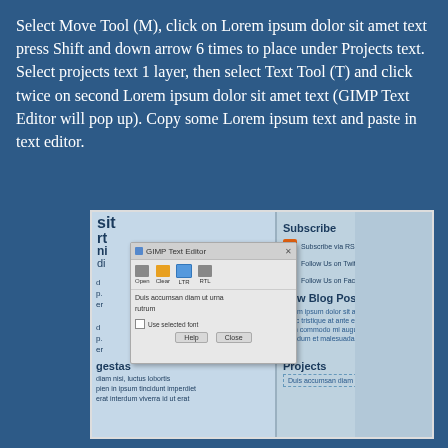Select Move Tool (M), click on Lorem ipsum dolor sit amet text press Shift and down arrow 6 times to place under Projects text. Select projects text 1 layer, then select Text Tool (T) and click twice on second Lorem ipsum dolor sit amet text (GIMP Text Editor will pop up). Copy some Lorem ipsum text and paste in text editor.
[Figure (screenshot): Screenshot of a web page being edited in GIMP, showing the GIMP Text Editor dialog open over a webpage layout. The dialog has Open, Clear, LTR, RTL buttons, text content 'Duis accumsan diam ut urna rutrum', a 'Use selected font' checkbox, and Help/Close buttons. The webpage shows Subscribe section with RSS, Twitter, Facebook links; New Blog Posts section; Projects section with dashed selection box; and left sidebar with gestas heading and body text.]